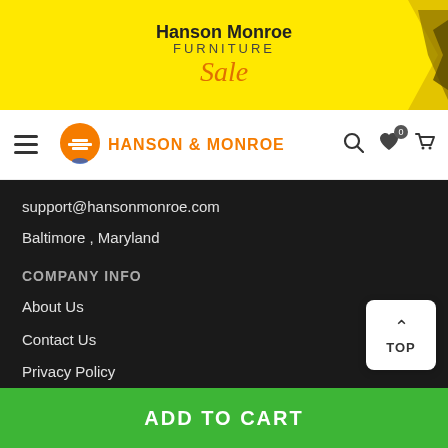[Figure (screenshot): Hanson Monroe Furniture Sale promotional banner with yellow background and orange arrow graphic]
HANSON & MONROE — navigation bar with hamburger menu, logo, search, wishlist, and cart icons
support@hansonmonroe.com
Baltimore , Maryland
COMPANY INFO
About Us
Contact Us
Privacy Policy
Terms & Conditions
ADD TO CART